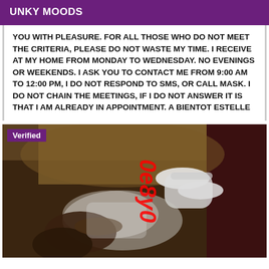UNKY MOODS
YOU WITH PLEASURE. FOR ALL THOSE WHO DO NOT MEET THE CRITERIA, PLEASE DO NOT WASTE MY TIME. I RECEIVE AT MY HOME FROM MONDAY TO WEDNESDAY. NO EVENINGS OR WEEKENDS. I ASK YOU TO CONTACT ME FROM 9:00 AM TO 12:00 PM, I DO NOT RESPOND TO SMS, OR CALL MASK. I DO NOT CHAIN THE MEETINGS, IF I DO NOT ANSWER IT IS THAT I AM ALREADY IN APPOINTMENT. A BIENTOT ESTELLE
[Figure (photo): Photo of a person reclining on a dark chair/sofa wearing white clothing and stockings, with a red watermark text overlay reading '0e8y0' or similar characters]